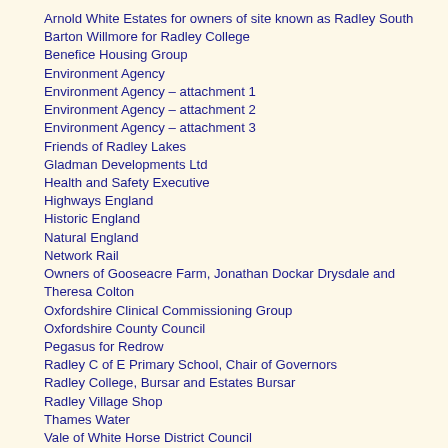Arnold White Estates for owners of site known as Radley South
Barton Willmore for Radley College
Benefice Housing Group
Environment Agency
Environment Agency – attachment 1
Environment Agency – attachment 2
Environment Agency – attachment 3
Friends of Radley Lakes
Gladman Developments Ltd
Health and Safety Executive
Highways England
Historic England
Natural England
Network Rail
Owners of Gooseacre Farm, Jonathan Dockar Drysdale and Theresa Colton
Oxfordshire Clinical Commissioning Group
Oxfordshire County Council
Pegasus for Redrow
Radley C of E Primary School, Chair of Governors
Radley College, Bursar and Estates Bursar
Radley Village Shop
Thames Water
Vale of White Horse District Council